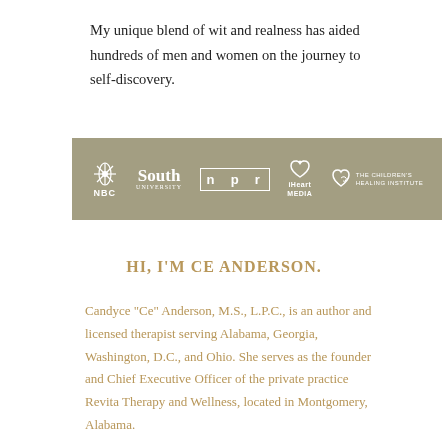My unique blend of wit and realness has aided hundreds of men and women on the journey to self-discovery.
[Figure (logo): A tan/olive colored banner containing five logos in white: NBC (peacock icon), South University, npr (in a box), iHeart Media (heart with radio waves), and The Children's Healing Institute (heart with hand).]
HI, I'M CE ANDERSON.
Candyce "Ce" Anderson, M.S., L.P.C., is an author and licensed therapist serving Alabama, Georgia, Washington, D.C., and Ohio. She serves as the founder and Chief Executive Officer of the private practice Revita Therapy and Wellness, located in Montgomery, Alabama.